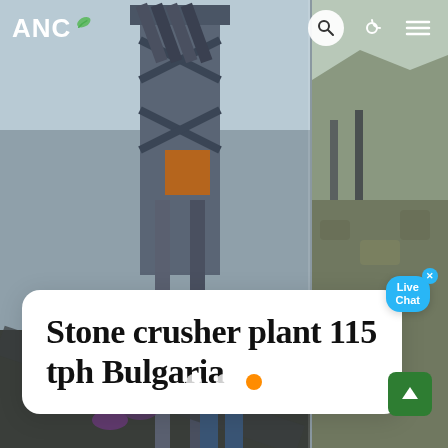[Figure (photo): Screenshot of a website for ANC featuring a stone crusher plant. Background shows industrial stone crushing machinery in two panels. Left panel shows close-up of crusher equipment with steel frame and conveyor. Right panel shows an outdoor quarry/excavation site. A white rounded card overlay shows the article title. Navigation bar at top with ANC logo, search, moon, and menu icons. Live Chat bubble overlay. Carousel dots and scroll-to-top button at bottom.]
ANC
Stone crusher plant 115 tph Bulgaria